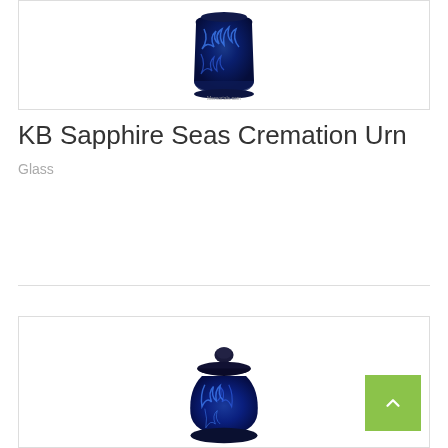[Figure (photo): Blue glass cremation urn with dark blue flame swirl pattern, cylindrical body with flared base, viewed from above/front, inside a bordered card]
KB Sapphire Seas Cremation Urn
Glass
[Figure (photo): Blue glass cremation urn with dark blue swirl pattern, bell-shaped body with round knob lid, inside a bordered card. Green scroll-to-top button in bottom right corner.]